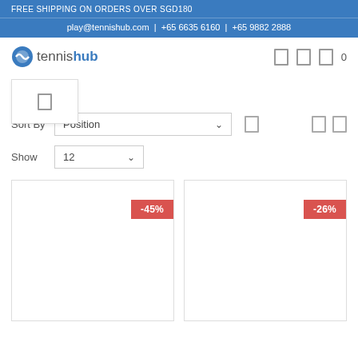FREE SHIPPING ON ORDERS OVER SGD180
play@tennishub.com | +65 6635 6160 | +65 9882 2888
[Figure (logo): Tennishub logo with blue swirl icon and text 'tennishub']
Sort By  Position
Show  12
[Figure (other): Product card with -45% discount badge]
[Figure (other): Product card with -26% discount badge]